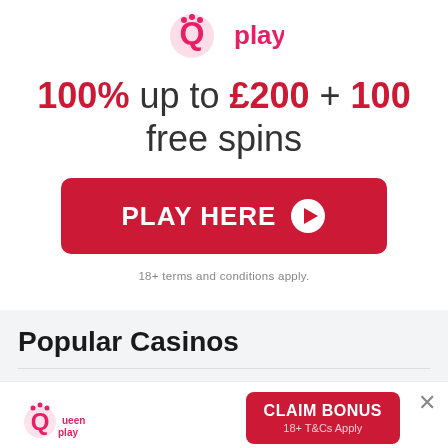[Figure (logo): Queen Play casino logo - pink Q with crown and 'play' text]
100% up to £200 + 100 free spins
[Figure (other): Red 'PLAY HERE' button with right-arrow icon]
18+ terms and conditions apply.
Popular Casinos
[Figure (logo): Queen Play logo (small) with pink Q and crown]
[Figure (other): Red 'CLAIM BONUS' button with '18+ T&Cs Apply' subtitle]